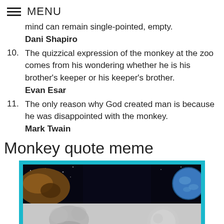☰ MENU
mind can remain single-pointed, empty.
Dani Shapiro
10. The quizzical expression of the monkey at the zoo comes from his wondering whether he is his brother's keeper or his keeper's brother.
Evan Esar
11. The only reason why God created man is because he was disappointed with the monkey.
Mark Twain
Monkey quote meme
[Figure (photo): A meme image showing space with a rocky asteroid and Earth in the upper half against a dark background, and silhouettes of monkeys in the lower half against a grey background, framed with a teal/cyan border.]